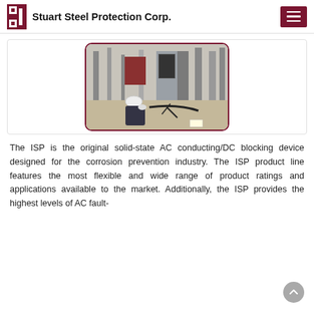Stuart Steel Protection Corp.
[Figure (photo): A worker wearing a hard hat crouches near industrial electrical equipment and steel structures at a substation or industrial facility. Metal columns, control boxes, and cables are visible in the outdoor setting.]
The ISP is the original solid-state AC conducting/DC blocking device designed for the corrosion prevention industry. The ISP product line features the most flexible and wide range of product ratings and applications available to the market. Additionally, the ISP provides the highest levels of AC fault-